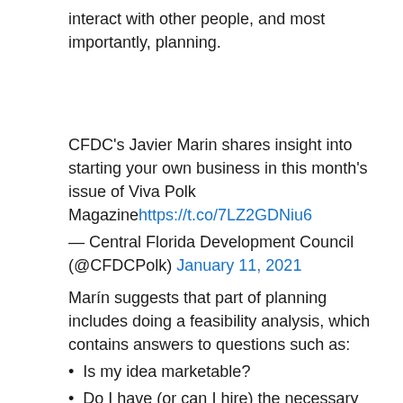interact with other people, and most importantly, planning.
CFDC’s Javier Marin shares insight into starting your own business in this month’s issue of Viva Polk Magazine https://t.co/7LZ2GDNiu6
— Central Florida Development Council (@CFDCPolk) January 11, 2021
Marín suggests that part of planning includes doing a feasibility analysis, which contains answers to questions such as:
Is my idea marketable?
Do I have (or can I hire) the necessary skills to offer